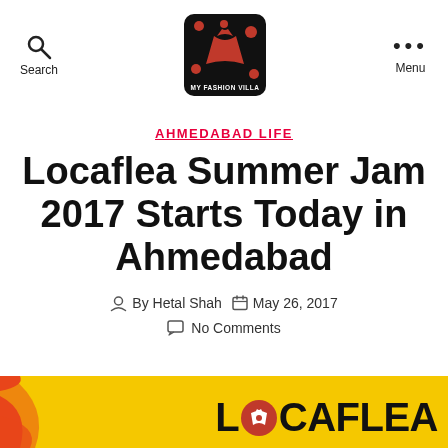Search | MY FASHION VILLA | Menu
AHMEDABAD LIFE
Locaflea Summer Jam 2017 Starts Today in Ahmedabad
By Hetal Shah   May 26, 2017
No Comments
[Figure (logo): Locaflea logo on yellow background at the bottom of the page]